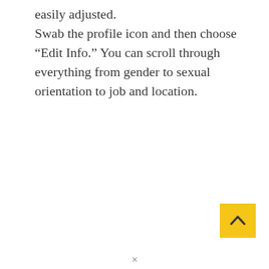easily adjusted. Swab the profile icon and then choose “Edit Info.” You can scroll through everything from gender to sexual orientation to job and location.